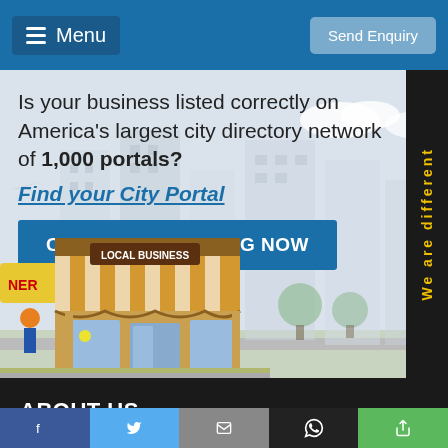Menu | Send Enquiry
Is your business listed correctly on America's largest city directory network of 1,000 portals?
Find your City Portal
CLAIM YOUR LISTING NOW
[Figure (illustration): Cartoon local business storefront with striped awning and city skyline background]
[Figure (illustration): Vertical side banner with text 'We are different' in yellow on dark background]
ABOUT US
This site is part of USAonline.us Network - America's Largest
Social share bar: Facebook, Twitter, Mail, WhatsApp, Share